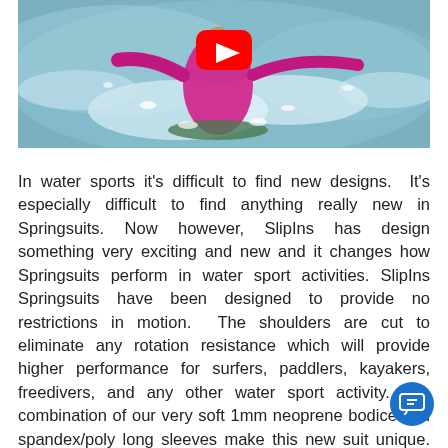[Figure (photo): Woman in pink/magenta wetsuit surfing or doing water sport activity, splashing water, with a YouTube play button overlay indicating an embedded video thumbnail.]
In water sports it's difficult to find new designs. It's especially difficult to find anything really new in Springsuits. Now however, SlipIns has design something very exciting and new and it changes how Springsuits perform in water sport activities. SlipIns Springsuits have been designed to provide no restrictions in motion. The shoulders are cut to eliminate any rotation resistance which will provide higher performance for surfers, paddlers, kayakers, freedivers, and any other water sport activity. The combination of our very soft 1mm neoprene bodice and spandex/poly long sleeves make this new suit unique. This new freedom of motion and